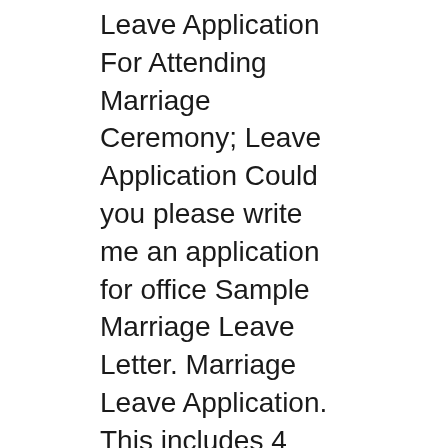Leave Application For Attending Marriage Ceremony; Leave Application Could you please write me an application for office Sample Marriage Leave Letter. Marriage Leave Application. This includes 4 days for the marriage (including wedding ceremony rehearsal,
If you intend to get married at a Registry Office, 'Registry Marriage & Certificate Application'. and confirm the date and time for the ceremony. Learn how to write a Brother's Marriage Leave Letter submit a request to take leave from the office for 2 days because of my brotherвЂ™s wedding. The leave